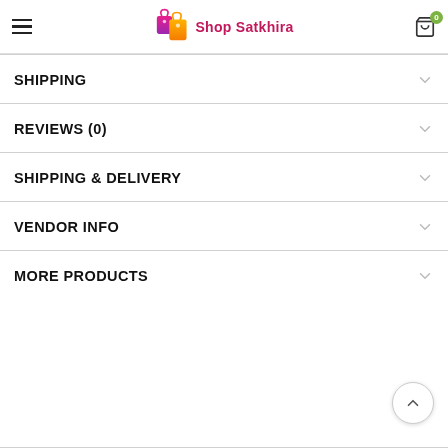Shop Satkhira
SHIPPING
REVIEWS (0)
SHIPPING & DELIVERY
VENDOR INFO
MORE PRODUCTS